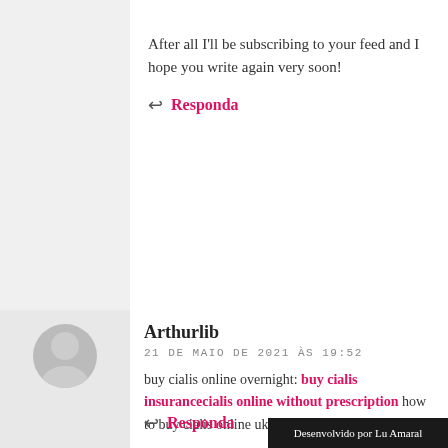After all I'll be subscribing to your feed and I hope you write again very soon!
↩ Responda
Arthurlib
21 DE MAIO DE 2021 ÀS 19:52
buy cialis online overnight: buy cialis insurancecialis online without prescription how to buy cialis online uk
↩ Responda
Desenvolvido por Lu Amaral